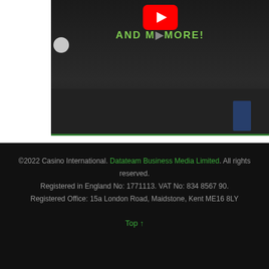[Figure (screenshot): YouTube video thumbnail showing text 'AND M... MORE!' with a YouTube play button, dark background with people visible]
©2022 Casino International. Datateam Business Media Limited. All rights reserved. Registered in England No: 1771113. VAT No: 834 8567 90. Registered Office: 15a London Road, Maidstone, Kent ME16 8LY
Top ↑